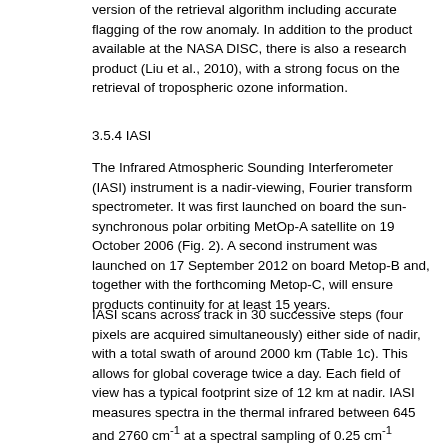OMI ozone profile product are planned using a new version of the retrieval algorithm including accurate flagging of the row anomaly. In addition to the product available at the NASA DISC, there is also a research product (Liu et al., 2010), with a strong focus on the retrieval of tropospheric ozone information.
3.5.4 IASI
The Infrared Atmospheric Sounding Interferometer (IASI) instrument is a nadir-viewing, Fourier transform spectrometer. It was first launched on board the sun-synchronous polar orbiting MetOp-A satellite on 19 October 2006 (Fig. 2). A second instrument was launched on 17 September 2012 on board Metop-B and, together with the forthcoming Metop-C, will ensure products continuity for at least 15 years.
IASI scans across track in 30 successive steps (four pixels are acquired simultaneously) either side of nadir, with a total swath of around 2000 km (Table 1c). This allows for global coverage twice a day. Each field of view has a typical footprint size of 12 km at nadir. IASI measures spectra in the thermal infrared between 645 and 2760 cm-1 at a spectral sampling of 0.25 cm-1